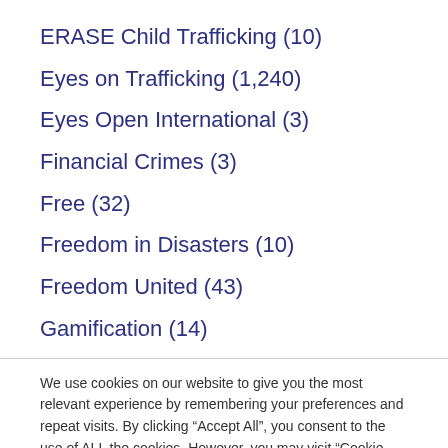ERASE Child Trafficking (10)
Eyes on Trafficking (1,240)
Eyes Open International (3)
Financial Crimes (3)
Free (32)
Freedom in Disasters (10)
Freedom United (43)
Gamification (14)
We use cookies on our website to give you the most relevant experience by remembering your preferences and repeat visits. By clicking “Accept All”, you consent to the use of ALL the cookies. However, you may visit “Cookie Settings” to provide a controlled consent.